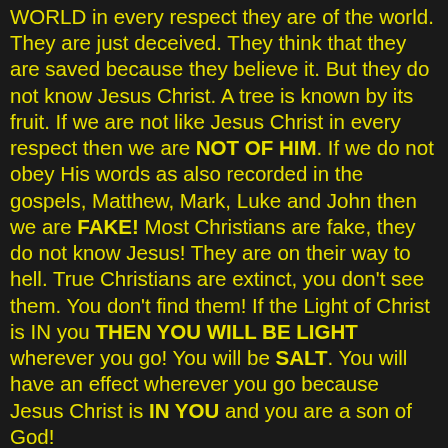WORLD in every respect they are of the world. They are just deceived. They think that they are saved because they believe it. But they do not know Jesus Christ. A tree is known by its fruit. If we are not like Jesus Christ in every respect then we are NOT OF HIM. If we do not obey His words as also recorded in the gospels, Matthew, Mark, Luke and John then we are FAKE! Most Christians are fake, they do not know Jesus! They are on their way to hell. True Christians are extinct, you don't see them. You don't find them! If the Light of Christ is IN you THEN YOU WILL BE LIGHT wherever you go! You will be SALT. You will have an effect wherever you go because Jesus Christ is IN YOU and you are a son of God!
Are YOU as son of God? Do you truly follow Jesus Christ, or do you serve YOURSELF, the lusts of your flesh and satan? Are you TRULY a child of God? That is why Jesus will say to most professing Christians, who quote the bible and who go to church and think they are saved, Jesus will say to them:"go away I never knew you, you workers of wickedness," because they are wicked! Most of them profess to be SINNERS. IF they were children of God and followers of Jesus they would be PERFECT, RIGHTEOUS and HOLY, UTTERLY OBEDIENT to God the Father.